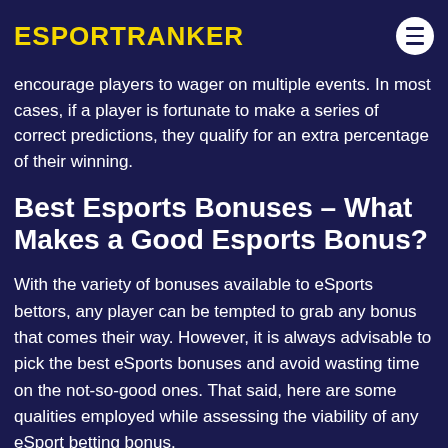ESPORTRANKER
Accumulator bonuses are primarily exclusive to esports. Basically, this bonus seeks to encourage players to wager on multiple events. In most cases, if a player is fortunate to make a series of correct predictions, they qualify for an extra percentage of their winning.
Best Esports Bonuses – What Makes a Good Esports Bonus?
With the variety of bonuses available to eSports bettors, any player can be tempted to grab any bonus that comes their way. However, it is always advisable to pick the best eSports bonuses and avoid wasting time on the not-so-good ones. That said, here are some qualities employed while assessing the viability of any eSport betting bonus.
Bonus Size